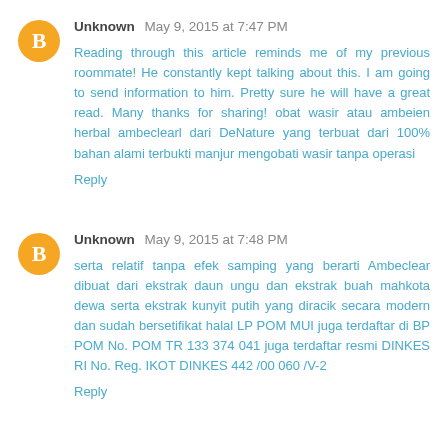Unknown May 9, 2015 at 7:47 PM
Reading through this article reminds me of my previous roommate! He constantly kept talking about this. I am going to send information to him. Pretty sure he will have a great read. Many thanks for sharing! obat wasir atau ambeien herbal ambeclearl dari DeNature yang terbuat dari 100% bahan alami terbukti manjur mengobati wasir tanpa operasi
Reply
Unknown May 9, 2015 at 7:48 PM
serta relatif tanpa efek samping yang berarti Ambeclear dibuat dari ekstrak daun ungu dan ekstrak buah mahkota dewa serta ekstrak kunyit putih yang diracik secara modern dan sudah bersetifikat halal LP POM MUI juga terdaftar di BP POM No. POM TR 133 374 041 juga terdaftar resmi DINKES RI No. Reg. IKOT DINKES 442 /00 060 /V-2
Reply